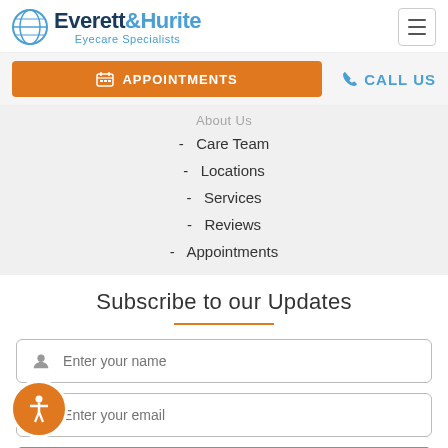[Figure (logo): Everett & Hurite Eyecare Specialists logo with globe icon]
APPOINTMENTS
CALL US
- Care Team
- Locations
- Services
- Reviews
- Appointments
Subscribe to our Updates
Enter your name
Enter your email
SUBSCRIBE